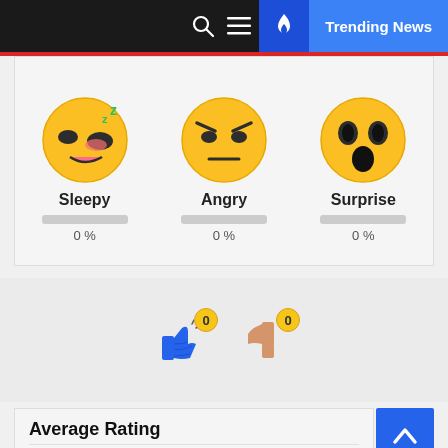Trending News
[Figure (illustration): Three emoji faces: Sleepy (0%), Angry (0%), Surprise (0%) with progress bars below each]
[Figure (illustration): Thumbs up icon with badge '0' and thumbs down icon with badge '0']
Average Rating
5 Star  0%
4 Star  0%